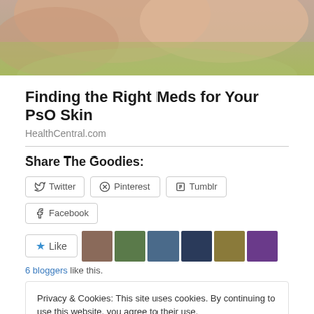[Figure (photo): Close-up photo of hands with green background, partial medical/skin context image]
Finding the Right Meds for Your PsO Skin
HealthCentral.com
Share The Goodies:
Twitter  Pinterest  Tumblr  Facebook
Like   6 bloggers like this.
Privacy & Cookies: This site uses cookies. By continuing to use this website, you agree to their use.
To find out more, including how to control cookies, see here: Cookie Policy